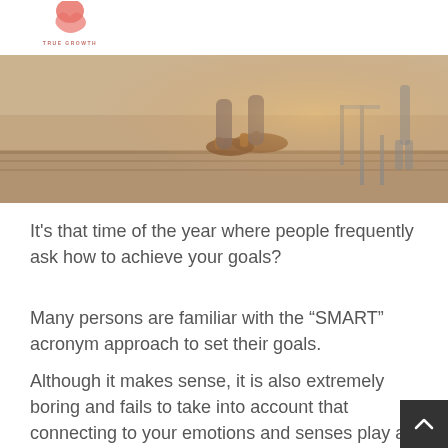[Figure (logo): True Growth website logo — pink/salmon stylized figure with 'TRUE GROWTH' text below]
[Figure (photo): Close-up photo of a person's feet/sandals on a dock or pier near water, with a chair visible in background. Warm, sunset-toned image.]
It's that time of the year where people frequently ask how to achieve your goals?
Many persons are familiar with the “SMART” acronym approach to set their goals.
Although it makes sense, it is also extremely boring and fails to take into account that connecting to your emotions and senses play an integral role in action taking and committing to the process needed to